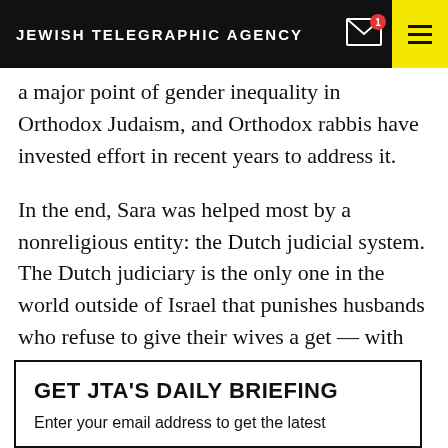JEWISH TELEGRAPHIC AGENCY
a major point of gender inequality in Orthodox Judaism, and Orthodox rabbis have invested effort in recent years to address it.
In the end, Sara was helped most by a nonreligious entity: the Dutch judicial system. The Dutch judiciary is the only one in the world outside of Israel that punishes husbands who refuse to give their wives a get — with significant fines.
GET JTA'S DAILY BRIEFING
Enter your email address to get the latest